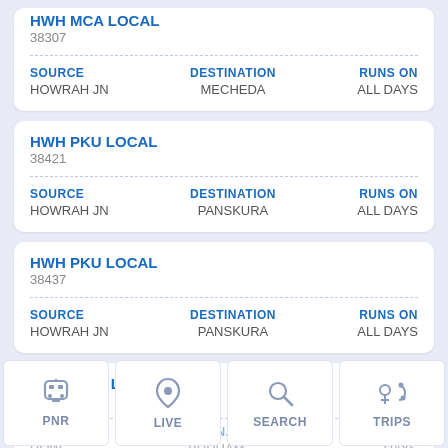HWH MCA LOCAL
38307
SOURCE: HOWRAH JN | DESTINATION: MECHEDA | RUNS ON: ALL DAYS
HWH PKU LOCAL
38421
SOURCE: HOWRAH JN | DESTINATION: PANSKURA | RUNS ON: ALL DAYS
HWH PKU LOCAL
38437
SOURCE: HOWRAH JN | DESTINATION: PANSKURA | RUNS ON: ALL DAYS
HWH-BWN LOCAL
37825
SOURCE: HOWRAH JN | DESTINATION: (partially visible) | RUNS ON: ALL DAYS
PNR | LIVE | SEARCH | TRIPS